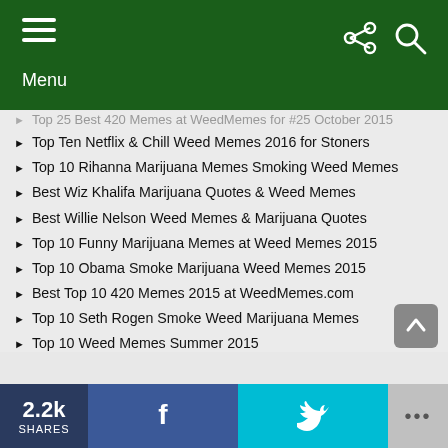Menu
Top 25 Best 420 Memes at WeedMemes for #25 October 2015
Top Ten Netflix & Chill Weed Memes 2016 for Stoners
Top 10 Rihanna Marijuana Memes Smoking Weed Memes
Best Wiz Khalifa Marijuana Quotes & Weed Memes
Best Willie Nelson Weed Memes & Marijuana Quotes
Top 10 Funny Marijuana Memes at Weed Memes 2015
Top 10 Obama Smoke Marijuana Weed Memes 2015
Best Top 10 420 Memes 2015 at WeedMemes.com
Top 10 Seth Rogen Smoke Weed Marijuana Memes
Top 10 Weed Memes Summer 2015
Best Snoop Dogg Weed Memes & Smoking Weed Quotes 2015
Best Weed Quotes About Marijuana & Top 10 Quotes On Pot
Best Hits Blunt Memes Funny Marijuana Memes 2015
Best Bernie Sanders Quotes About Marijuana Legalization
FOLLOW US
[Figure (infographic): Social media icons: Facebook, Twitter, Instagram, Pinterest]
[Figure (infographic): Share bar with 2.2k SHARES, Facebook share button, Twitter share button, more options]